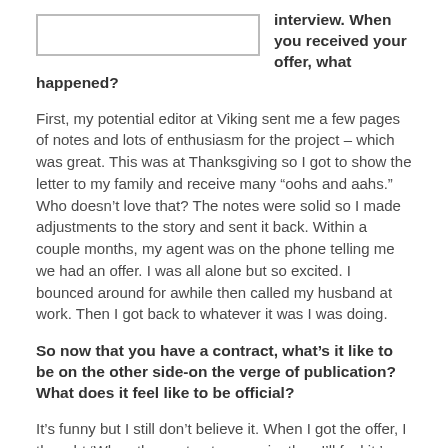[Figure (other): Rectangular image placeholder box, empty white with grey border]
interview. When you received your offer, what happened?
First, my potential editor at Viking sent me a few pages of notes and lots of enthusiasm for the project – which was great. This was at Thanksgiving so I got to show the letter to my family and receive many “oohs and aahs.” Who doesn’t love that? The notes were solid so I made adjustments to the story and sent it back. Within a couple months, my agent was on the phone telling me we had an offer. I was all alone but so excited. I bounced around for awhile then called my husband at work. Then I got back to whatever it was I was doing.
So now that you have a contract, what’s it like to be on the other side-on the verge of publication? What does it feel like to be official?
It’s funny but I still don’t believe it. When I got the offer, I thought ‘When the contract comes in, then I’ll feel it.’ When I got the contract, I thought, ‘When I s…the illustrations…